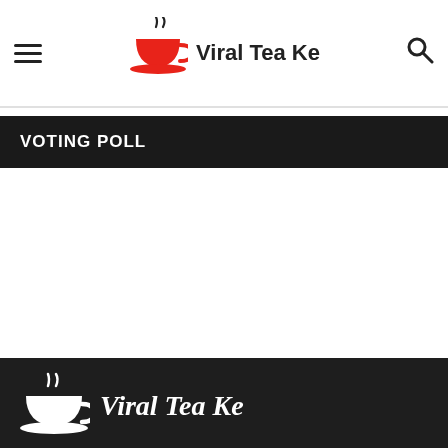Viral Tea Ke
VOTING POLL
[Figure (logo): Viral Tea Ke logo with white tea cup icon and italic brand name on dark background]
Breaking, Viral News, Features, Original Reports, Entertainment and Videos. #NeverMissAStory
RANDOM POSTS